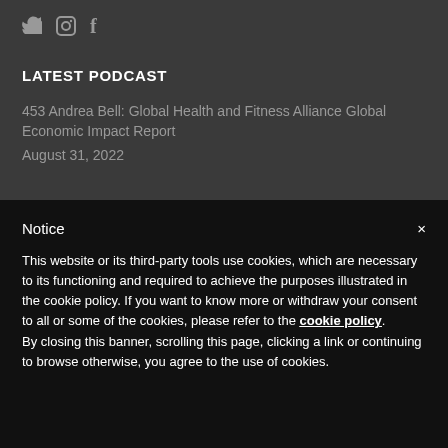[Figure (illustration): Three social media icons: Twitter bird, Instagram camera, Facebook f — displayed in grey on dark background]
LATEST PODCAST
453 Andrea Bell: Global Health and Fitness Alliance Global Economic Impact Report
August 31, 2022
Notice
This website or its third-party tools use cookies, which are necessary to its functioning and required to achieve the purposes illustrated in the cookie policy. If you want to know more or withdraw your consent to all or some of the cookies, please refer to the cookie policy.
By closing this banner, scrolling this page, clicking a link or continuing to browse otherwise, you agree to the use of cookies.